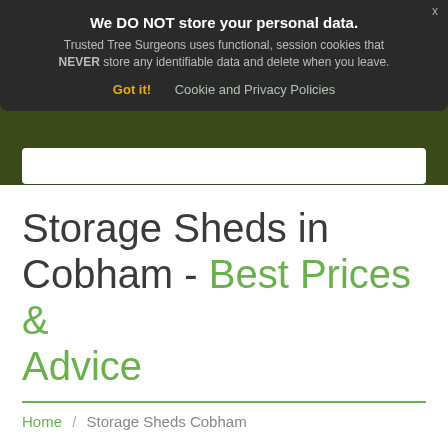We DO NOT store your personal data. Trusted Tree Surgeons uses functional, session cookies that NEVER store any identifiable data and delete when you leave. Got it! Cookie and Privacy Policies
Storage Sheds in Cobham - Best Prices & Advice
Home / Storage Sheds Cobham
Table of Contents
Store anything from cars to tools with your ideal Cobham storage shed